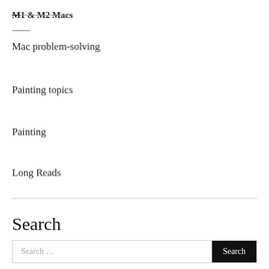M1 & M2 Macs
Mac problem-solving
Painting topics
Painting
Long Reads
Search
Search …